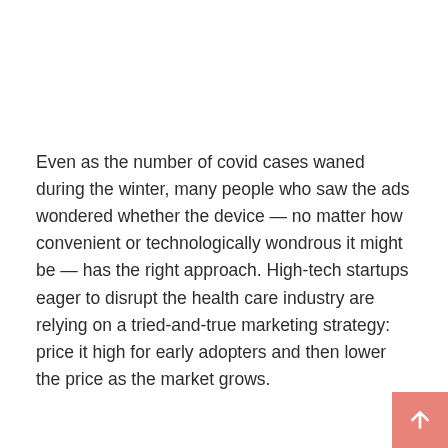Even as the number of covid cases waned during the winter, many people who saw the ads wondered whether the device — no matter how convenient or technologically wondrous it might be — has the right approach. High-tech startups eager to disrupt the health care industry are relying on a tried-and-true marketing strategy: price it high for early adopters and then lower the price as the market grows.